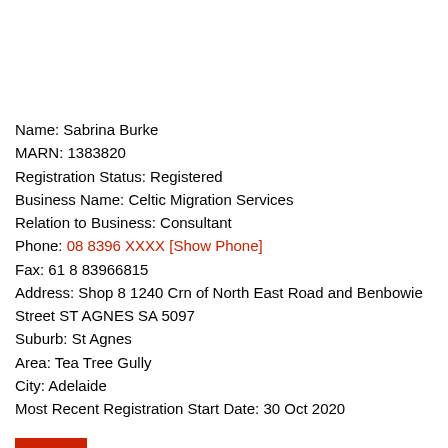Name: Sabrina Burke
MARN: 1383820
Registration Status: Registered
Business Name: Celtic Migration Services
Relation to Business: Consultant
Phone: 08 8396 XXXX [Show Phone]
Fax: 61 8 83966815
Address: Shop 8 1240 Crn of North East Road and Benbowie Street ST AGNES SA 5097
Suburb: St Agnes
Area: Tea Tree Gully
City: Adelaide
Most Recent Registration Start Date: 30 Oct 2020